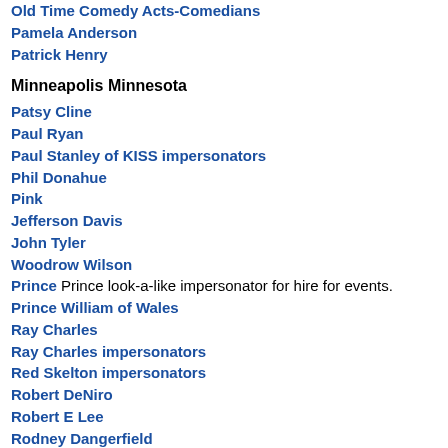Old Time Comedy Acts-Comedians
Pamela Anderson
Patrick Henry
Minneapolis Minnesota
Patsy Cline
Paul Ryan
Paul Stanley of KISS impersonators
Phil Donahue
Pink
Jefferson Davis
John Tyler
Woodrow Wilson
Prince Prince look-a-like impersonator for hire for events.
Prince William of Wales
Ray Charles
Ray Charles impersonators
Red Skelton impersonators
Robert DeNiro
Robert E Lee
Rodney Dangerfield
Minneapolis Minnesota